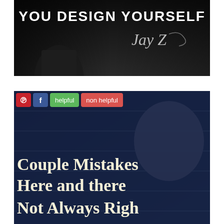[Figure (illustration): Dark motivational quote image with text 'YOU DESIGN YOURSELF' and signature 'Jay Z' over a dark background with a silhouette of a man in a suit]
[Figure (illustration): Dark blue motivational quote image with social sharing buttons (Pinterest, Facebook, helpful, non helpful) overlaid. Shows a person's face against a brick wall background with text 'Couple Mistakes Here and there Not Always Right']